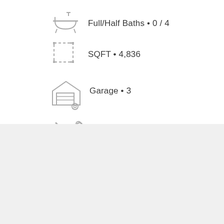Full/Half Baths • 0 / 4
SQFT • 4,836
Garage • 3
Year Built • 2022
Home Details
Spec home currently under construction from Harbor Custom Development. An impressive